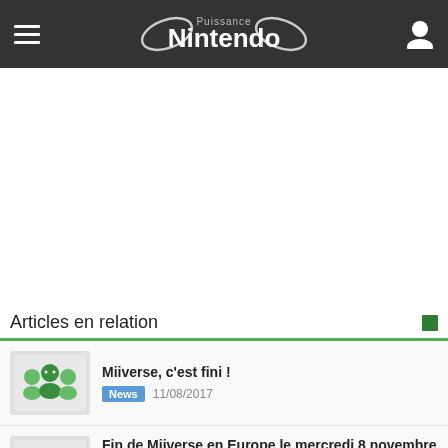Puissance Nintendo
Articles en relation
Miiverse, c'est fini ! News 11/08/2017
Fin de Miiverse en Europe le mercredi 8 novembre 2017 à 7h00